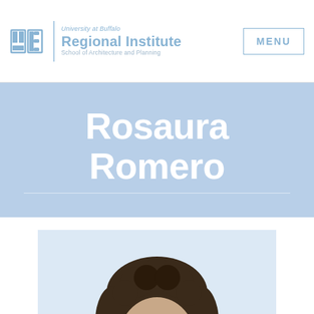University at Buffalo Regional Institute School of Architecture and Planning | MENU
Rosaura Romero
[Figure (photo): Headshot photograph of Rosaura Romero, a woman with dark curly hair, shown from shoulders up against a light blue background.]